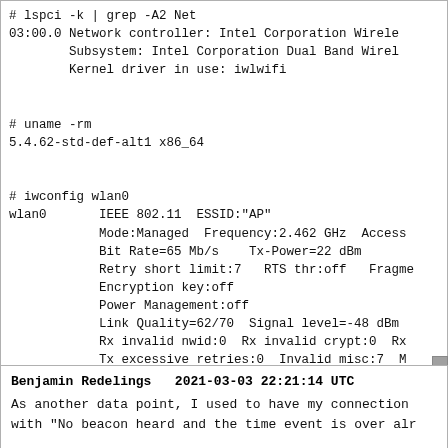# lspci -k | grep -A2 Net
03:00.0 Network controller: Intel Corporation Wirele
        Subsystem: Intel Corporation Dual Band Wirel
        Kernel driver in use: iwlwifi

# uname -rm
5.4.62-std-def-alt1 x86_64

# iwconfig wlan0
wlan0       IEEE 802.11  ESSID:"AP"
            Mode:Managed  Frequency:2.462 GHz  Access
            Bit Rate=65 Mb/s    Tx-Power=22 dBm
            Retry short limit:7   RTS thr:off   Fragme
            Encryption key:off
            Power Management:off
            Link Quality=62/70  Signal level=-48 dBm
            Rx invalid nwid:0  Rx invalid crypt:0  Rx
            Tx excessive retries:0  Invalid misc:7  M
Benjamin Redelings    2021-03-03 22:21:14 UTC

As another data point, I used to have my connection
with "No beacon heard and the time event is over alr

However, on Feb 23rd this inexplicably stopped --- w